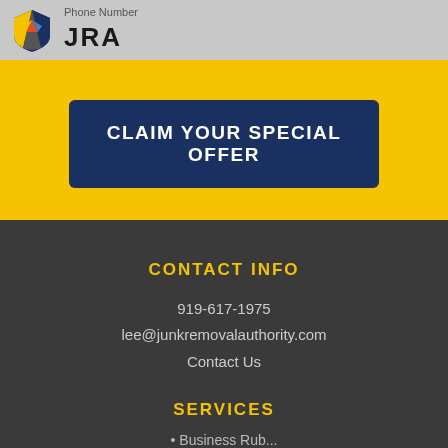[Figure (logo): JRA shield logo with colorful geometric design and text 'JRA' next to 'Phone Number' label in a gray navigation bar]
CLAIM YOUR SPECIAL OFFER
CONTACT INFO
919-617-1975
lee@junkremovalauthority.com
Contact Us
SERVICES
• Business Rub...